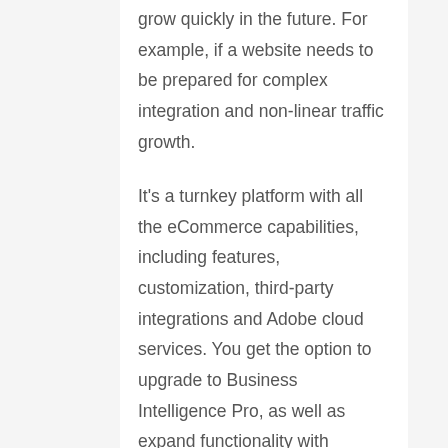grow quickly in the future. For example, if a website needs to be prepared for complex integration and non-linear traffic growth.
It's a turnkey platform with all the eCommerce capabilities, including features, customization, third-party integrations and Adobe cloud services. You get the option to upgrade to Business Intelligence Pro, as well as expand functionality with numerous add-